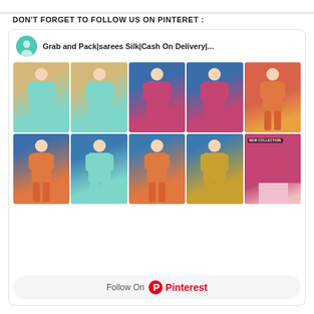DON'T FORGET TO FOLLOW US ON PINTERET :
[Figure (screenshot): Pinterest card showing a board titled 'Grab and Pack|sarees Silk|Cash On Delivery|...' with a grid of 10 saree fashion images in teal, red, orange and pink colors, and a 'Follow On Pinterest' button at the bottom.]